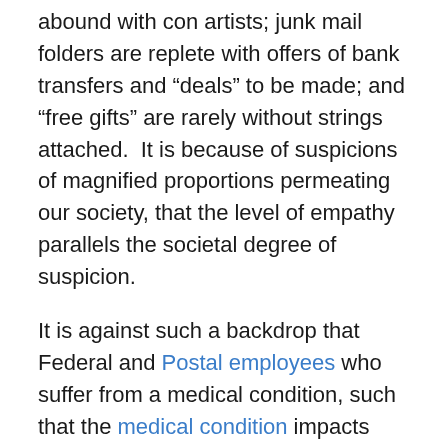abound with con artists; junk mail folders are replete with offers of bank transfers and “deals” to be made; and “free gifts” are rarely without strings attached.  It is because of suspicions of magnified proportions permeating our society, that the level of empathy parallels the societal degree of suspicion.
It is against such a backdrop that Federal and Postal employees who suffer from a medical condition, such that the medical condition impacts one’s capabilities to perform the essential elements of one’s job, that one must contend with the high sensitivity of societal suspiciousness.
With stories of fraud and abuse concerning Social Security Disability benefits; and with a stagnant economy and shrinking public sector funds, Federal and Postal workers under FERS or CSRS who must consider filing for Federal